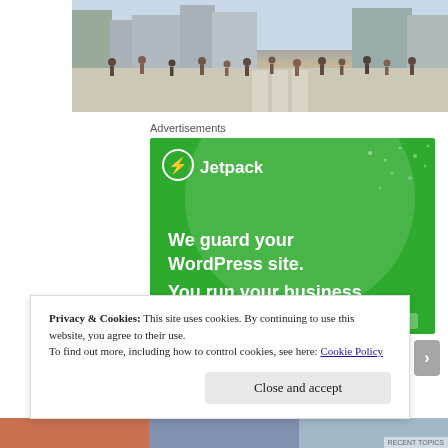[Figure (photo): Crowd of people walking across a wide plaza or crosswalk, city buildings visible in background]
Advertisements
[Figure (illustration): Jetpack advertisement banner. Green background with large white circle decoration and dots. Jetpack logo (lightning bolt icon) and name at top. Text: 'We guard your WordPress site. You run your business.']
Privacy & Cookies: This site uses cookies. By continuing to use this website, you agree to their use.
To find out more, including how to control cookies, see here: Cookie Policy
Close and accept